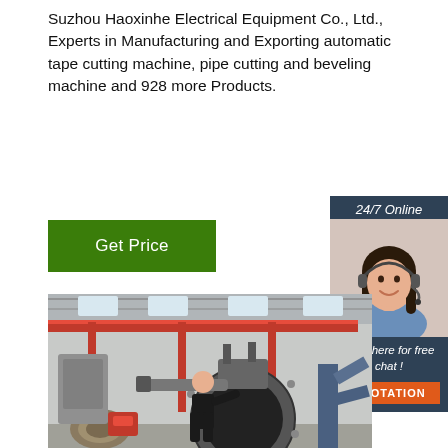Suzhou Haoxinhe Electrical Equipment Co., Ltd., Experts in Manufacturing and Exporting automatic tape cutting machine, pipe cutting and beveling machine and 928 more Products.
[Figure (other): Green 'Get Price' button]
[Figure (infographic): 24/7 Online chat sidebar with woman wearing headset, 'Click here for free chat!' text, and orange QUOTATION button]
[Figure (photo): Factory floor photo showing a worker operating large pipe cutting/beveling machinery in an industrial facility with overhead cranes]